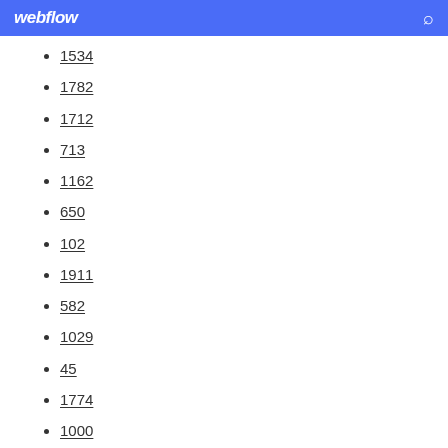webflow
1534
1782
1712
713
1162
650
102
1911
582
1029
45
1774
1000